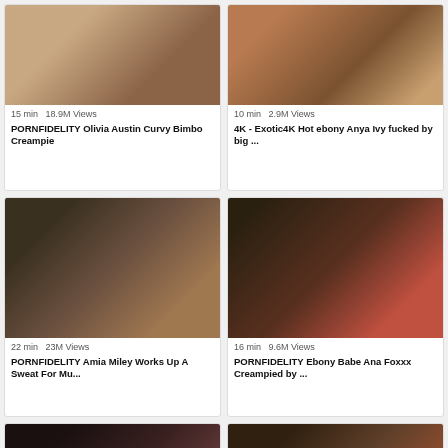[Figure (photo): Video thumbnail 1 - PORNFIDELITY Olivia Austin]
15 min   18.9M Views
PORNFIDELITY Olivia Austin Curvy Bimbo Creampie
[Figure (photo): Video thumbnail 2 - 4K Exotic4K Hot ebony Anya Ivy]
10 min   2.9M Views
4K - Exotic4K Hot ebony Anya Ivy fucked by big ...
[Figure (photo): Video thumbnail 3 - PORNFIDELITY Amia Miley]
22 min   23M Views
PORNFIDELITY Amia Miley Works Up A Sweat For Mu...
[Figure (photo): Video thumbnail 4 - PORNFIDELITY Ebony Babe Ana Foxxx]
16 min   9.6M Views
PORNFIDELITY Ebony Babe Ana Foxxx Creampied by ...
[Figure (photo): Video thumbnail 5 - bottom left]
[Figure (photo): Video thumbnail 6 - bottom right]